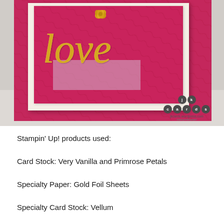[Figure (photo): Close-up photo of a handmade greeting card featuring hot pink/Primrose Petals embossed card stock with a gold foil 'love' script die cut, layered on Very Vanilla card stock with a vellum strip accent. The card has a textured embossed background pattern. A watermark in the lower right reads 'jk cards / jkcards.wordpress.com' with circular letter logos.]
Stampin' Up! products used:
Card Stock: Very Vanilla and Primrose Petals
Specialty Paper: Gold Foil Sheets
Specialty Card Stock: Vellum